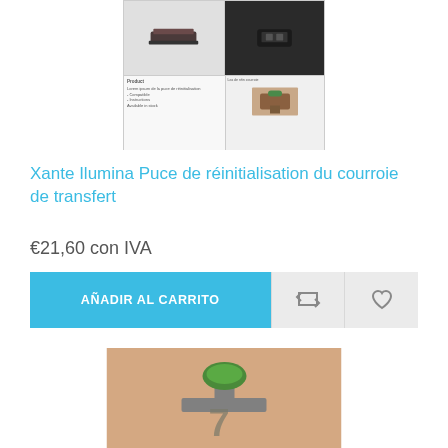[Figure (photo): Product image showing a printer chip/belt reset chip in a 2x2 grid layout with product photos]
Xante Ilumina Puce de réinitialisation du courroie de transfert
€21,60 con IVA
AÑADIR AL CARRITO
[Figure (photo): Close-up photo of a green and grey mechanical component (reset chip) on a beige/pink surface with the number 7 visible]